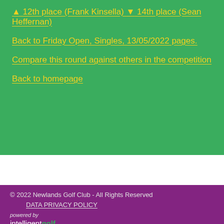▲ 12th place (Frank Kinsella) ▼ 14th place (Sean Heffernan)
Back to Friday Open, Singles, 13/05/2022 pages.
Compare this round against others in the competition
Back to homepage
© 2022 Newlands Golf Club - All Rights Reserved
DATA PRIVACY POLICY
powered by intelligentgolf